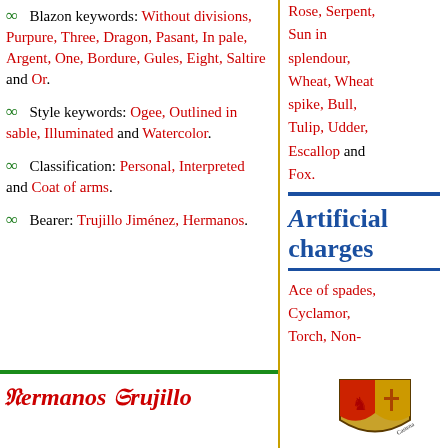Blazon keywords: Without divisions, Purpure, Three, Dragon, Pasant, In pale, Argent, One, Bordure, Gules, Eight, Saltire and Or.
Style keywords: Ogee, Outlined in sable, Illuminated and Watercolor.
Classification: Personal, Interpreted and Coat of arms.
Bearer: Trujillo Jiménez, Hermanos.
Rose, Serpent, Sun in splendour, Wheat, Wheat spike, Bull, Tulip, Udder, Escallop and Fox.
Artificial charges
Ace of spades, Cyclamor, Torch, Non-
Hermanos Trujillo